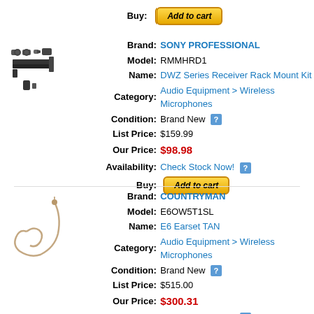Buy: Add to cart
Brand: SONY PROFESSIONAL
Model: RMMHRD1
Name: DWZ Series Receiver Rack Mount Kit
Category: Audio Equipment > Wireless Microphones
Condition: Brand New
List Price: $159.99
Our Price: $98.98
Availability: Check Stock Now!
Buy: Add to cart
Brand: COUNTRYMAN
Model: E6OW5T1SL
Name: E6 Earset TAN
Category: Audio Equipment > Wireless Microphones
Condition: Brand New
List Price: $515.00
Our Price: $300.31
Availability: Check Stock Now!
Buy: Add to cart